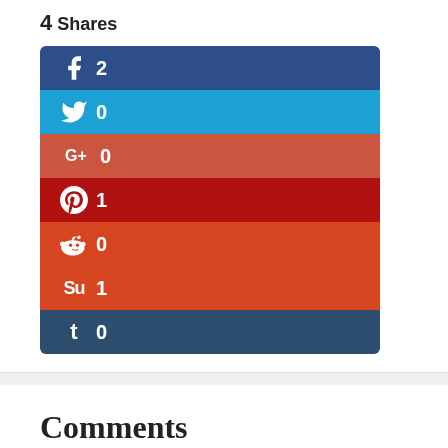4 Shares
[Figure (infographic): Social share count widget showing rows for Facebook (2), Twitter (0), Google+ (0), Pinterest (1), Reddit (0), StumbleUpon (1), Tumblr (0)]
Comments